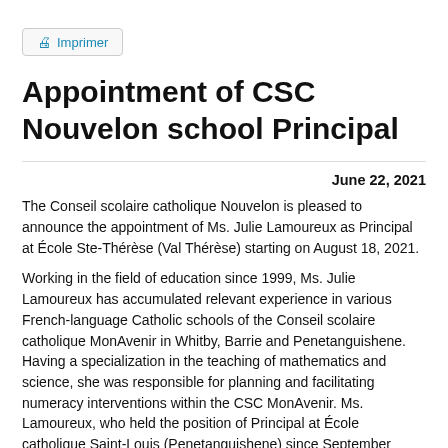Imprimer
Appointment of CSC Nouvelon school Principal
June 22, 2021
The Conseil scolaire catholique Nouvelon is pleased to announce the appointment of Ms. Julie Lamoureux as Principal at École Ste-Thérèse (Val Thérèse) starting on August 18, 2021.
Working in the field of education since 1999, Ms. Julie Lamoureux has accumulated relevant experience in various French-language Catholic schools of the Conseil scolaire catholique MonAvenir in Whitby, Barrie and Penetanguishene. Having a specialization in the teaching of mathematics and science, she was responsible for planning and facilitating numeracy interventions within the CSC MonAvenir. Ms. Lamoureux, who held the position of Principal at École catholique Saint-Louis (Penetanguishene) since September